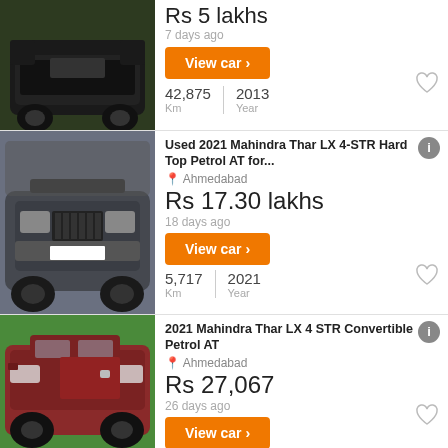[Figure (photo): Black Mahindra Thar SUV parked on grass]
Rs 5 lakhs (partial, cut off at top)
7 days ago
View car
42,875 Km | 2013 Year
[Figure (photo): Grey Mahindra Thar LX Hard Top SUV front view]
Used 2021 Mahindra Thar LX 4-STR Hard Top Petrol AT for...
Ahmedabad
Rs 17.30 lakhs
18 days ago
View car
5,717 Km | 2021 Year
[Figure (photo): Red Mahindra Thar LX Convertible SUV side view]
2021 Mahindra Thar LX 4 STR Convertible Petrol AT
Ahmedabad
Rs 27,067
26 days ago
View car
5,420 Km | 2021 Year